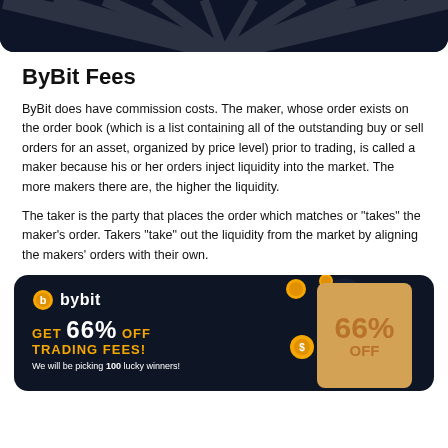[Figure (illustration): Dark navy banner with radiating light ray pattern, rounded bottom corners]
ByBit Fees
ByBit does have commission costs. The maker, whose order exists on the order book (which is a list containing all of the outstanding buy or sell orders for an asset, organized by price level) prior to trading, is called a maker because his or her orders inject liquidity into the market. The more makers there are, the higher the liquidity.
The taker is the party that places the order which matches or “takes” the maker’s order. Takers “take” out the liquidity from the market by aligning the makers’ orders with their own.
[Figure (illustration): Bybit promotional banner on dark navy background. Shows Bybit logo with coin icon, text 'GET 66% OFF TRADING FEES! We will be picking 100 lucky winners!' on the left. On the right, a golden card showing '66% OFF' with coin decorations around it.]